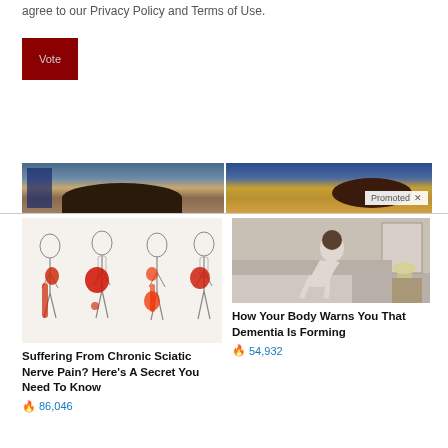agree to our Privacy Policy and Terms of Use.
Vote
[Figure (photo): Two side-by-side photos: left shows a man's head/hair with American flag stars in background, right shows a woman's hair with a 'Promoted X' badge overlay]
[Figure (illustration): Medical illustration showing four human body outlines with sciatic nerve pain highlighted in red along the leg and back]
Suffering From Chronic Sciatic Nerve Pain? Here's A Secret You Need To Know
86,046
[Figure (photo): Photo of elderly person sitting hunched over on a bed in a bedroom setting]
How Your Body Warns You That Dementia Is Forming
54,932